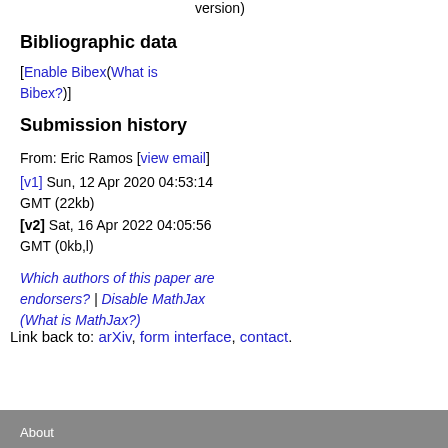version)
Bibliographic data
[Enable Bibex(What is Bibex?)]
Submission history
From: Eric Ramos [view email]
[v1] Sun, 12 Apr 2020 04:53:14 GMT (22kb)
[v2] Sat, 16 Apr 2022 04:05:56 GMT (0kb,l)
Which authors of this paper are endorsers? | Disable MathJax (What is MathJax?)
Link back to: arXiv, form interface, contact.
About